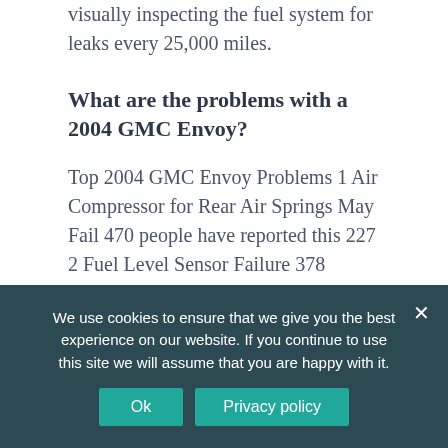visually inspecting the fuel system for leaks every 25,000 miles.
What are the problems with a 2004 GMC Envoy?
Top 2004 GMC Envoy Problems 1 Air Compressor for Rear Air Springs May Fail 470 people have reported this 227 2 Fuel Level Sensor Failure 378 people have reported this 214 3 AC Blower Inop Due to Failed Resistor 272 people have reported this 121 4 CD Player In Radio May Fail 175 people
We use cookies to ensure that we give you the best experience on our website. If you continue to use this site we will assume that you are happy with it.